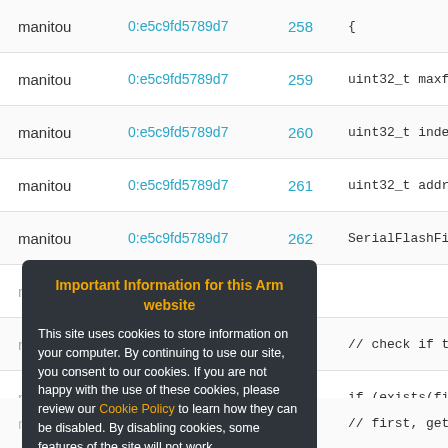| name | hash | line | code |
| --- | --- | --- | --- |
| manitou | 0:e5c9fd5789d7 | 258 | { |
| manitou | 0:e5c9fd5789d7 | 259 | uint32_t maxfi |
| manitou | 0:e5c9fd5789d7 | 260 | uint32_t index |
| manitou | 0:e5c9fd5789d7 | 261 | uint32_t addre |
| manitou | 0:e5c9fd5789d7 | 262 | SerialFlashFil |
|  | 0:e5c9fd5789d7 | 263 |  |
| manitou | 0:e5c9fd5789d7 | 264 | // check if th |
| manitou | 0:e5c9fd5789d7 | 265 | if (exists(fil |
|  | 0:e5c9fd5789d7 | 266 |  |
| manitou | 0:e5c9fd5789d7 | 267 | // first, get |
| manitou | 0:e5c9fd5789d7 | 268 | maxfiles = che |
Important Information for this Arm website
This site uses cookies to store information on your computer. By continuing to use our site, you consent to our cookies. If you are not happy with the use of these cookies, please review our Cookie Policy to learn how they can be disabled. By disabling cookies, some features of the site will not work.
Accept and hide this message